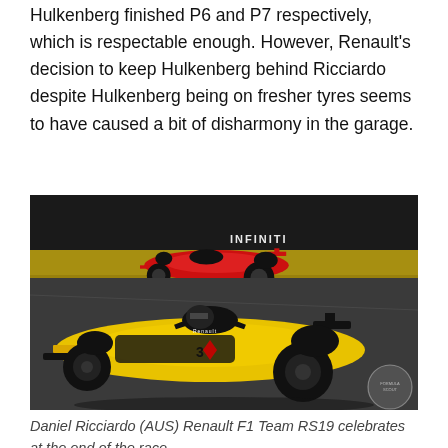Hulkenberg finished P6 and P7 respectively, which is respectable enough. However, Renault's decision to keep Hulkenberg behind Ricciardo despite Hulkenberg being on fresher tyres seems to have caused a bit of disharmony in the garage.
[Figure (photo): Daniel Ricciardo in a yellow Renault RS19 F1 car racing on track with a red Ferrari visible behind him]
Daniel Ricciardo (AUS) Renault F1 Team RS19 celebrates at the end of the race.